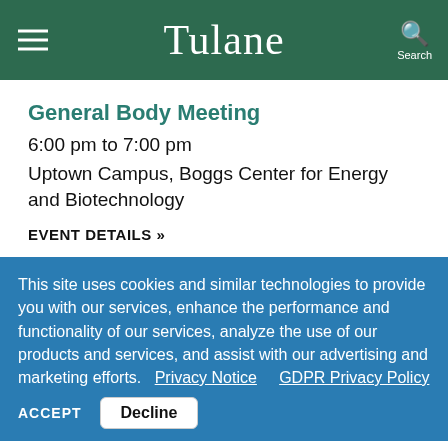Tulane
General Body Meeting
6:00 pm to 7:00 pm
Uptown Campus, Boggs Center for Energy and Biotechnology
EVENT DETAILS »
This site uses cookies and similar technologies to provide you with our services, enhance the performance and functionality of our services, analyze the use of our products and services, and assist with our advertising and marketing efforts.  Privacy Notice    GDPR Privacy Policy
ACCEPT   Decline